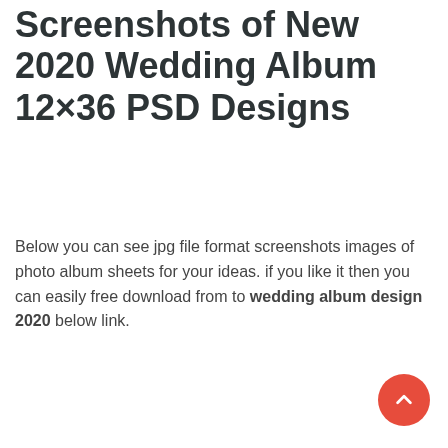Screenshots of New 2020 Wedding Album 12×36 PSD Designs
Below you can see jpg file format screenshots images of photo album sheets for your ideas. if you like it then you can easily free download from to wedding album design 2020 below link.